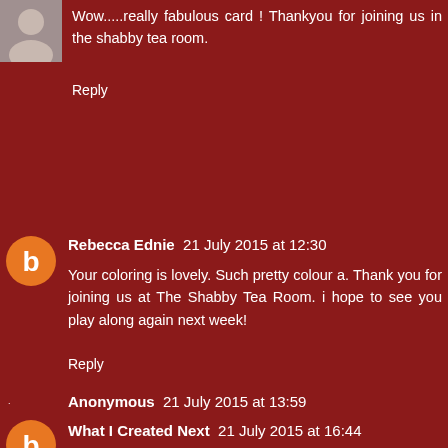[Figure (photo): Small avatar image in top-left corner]
Wow.....really fabulous card ! Thankyou for joining us in the shabby tea room.
Reply
[Figure (illustration): Orange circle Blogger avatar with letter B]
Rebecca Ednie 21 July 2015 at 12:30
Your coloring is lovely. Such pretty colour a. Thank you for joining us at The Shabby Tea Room. i hope to see you play along again next week!
Reply
Anonymous 21 July 2015 at 13:59
I love the bright cheery look of this new card. Your image looks great. Thanks for joining us at Love to Scrap.
Reply
[Figure (illustration): Orange circle Blogger avatar with letter B]
What I Created Next 21 July 2015 at 16:44